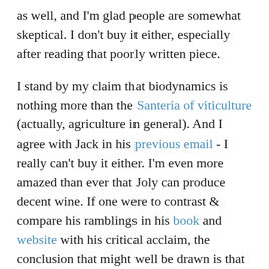as well, and I'm glad people are somewhat skeptical. I don't buy it either, especially after reading that poorly written piece.
I stand by my claim that biodynamics is nothing more than the Santeria of viticulture (actually, agriculture in general). And I agree with Jack in his previous email - I really can't buy it either. I'm even more amazed than ever that Joly can produce decent wine. If one were to contrast & compare his ramblings in his book and website with his critical acclaim, the conclusion that might well be drawn is that he's an idiot-savant.
His apologia starts in the first chapters with statements that biodynamics is a theory, and therefore not able to prove things like a regular